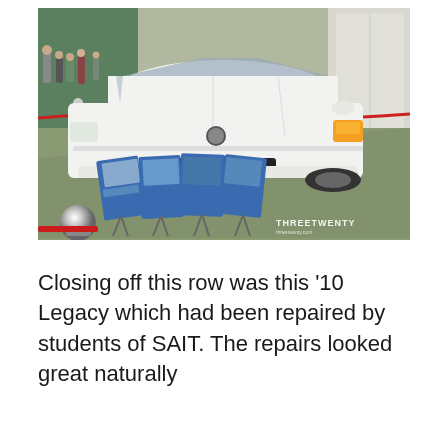[Figure (photo): A white Subaru Legacy sedan displayed inside a garage/workshop setting. The car is parked on a green floor with display boards/photos in front of it. People are visible in the background behind red rope barriers. A chrome ball hitch is visible in the foreground. A THREETWENTY watermark appears at the bottom of the image.]
Closing off this row was this '10 Legacy which had been repaired by students of SAIT. The repairs looked great naturally